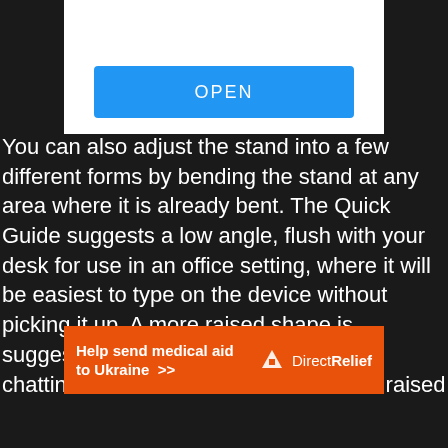[Figure (screenshot): White card with a blue OPEN button]
You can also adjust the stand into a few different forms by bending the stand at any area where it is already bent. The Quick Guide suggests a low angle, flush with your desk for use in an office setting, where it will be easiest to type on the device without picking it up. A more raised shape is suggested for in the kitchen, for video chatting, or for on your nightstand. The raised shape keeps your device up and off of the counter in
[Figure (infographic): Orange banner ad: Help send medical aid to Ukraine >> | Direct Relief logo]